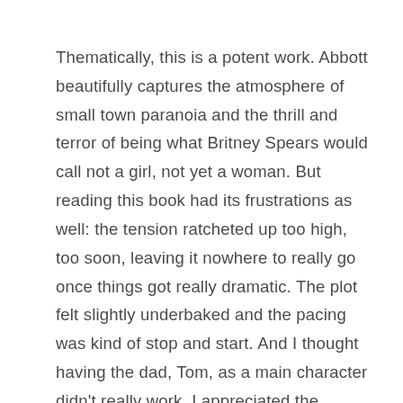Thematically, this is a potent work. Abbott beautifully captures the atmosphere of small town paranoia and the thrill and terror of being what Britney Spears would call not a girl, not yet a woman. But reading this book had its frustrations as well: the tension ratcheted up too high, too soon, leaving it nowhere to really go once things got really dramatic. The plot felt slightly underbaked and the pacing was kind of stop and start. And I thought having the dad, Tom, as a main character didn't really work. I appreciated the inclusion of Eli, the perspective on teenage boys and sex made the book as a